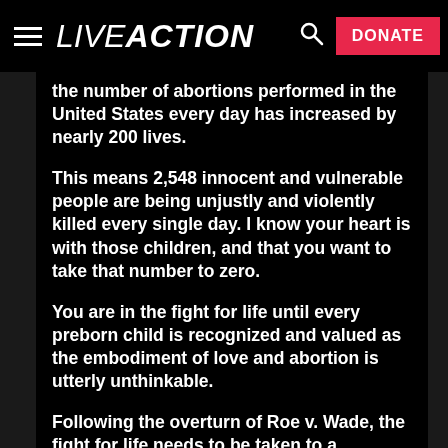LIVE ACTION — DONATE
the number of abortions performed in the United States every day has increased by nearly 200 lives.
This means 2,548 innocent and vulnerable people are being unjustly and violently killed every single day. I know your heart is with those children, and that you want to take that number to zero.
You are in the fight for life until every preborn child is recognized and valued as the embodiment of love and abortion is utterly unthinkable.
Following the overturn of Roe v. Wade, the fight for life needs to be taken to a personal level - in every city, town, and state.